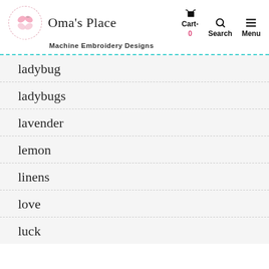Oma's Place — Machine Embroidery Designs
ladybug
ladybugs
lavender
lemon
linens
love
luck